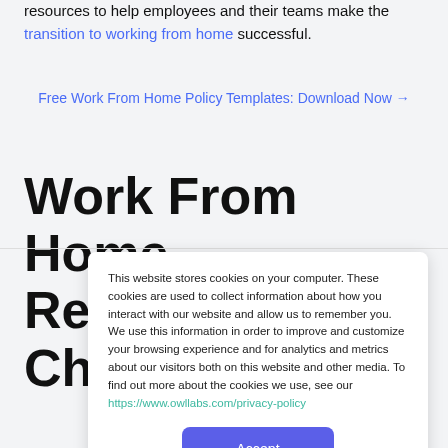resources to help employees and their teams make the transition to working from home successful.
Free Work From Home Policy Templates: Download Now →
Work From Home Readiness Checklist
This website stores cookies on your computer. These cookies are used to collect information about how you interact with our website and allow us to remember you. We use this information in order to improve and customize your browsing experience and for analytics and metrics about our visitors both on this website and other media. To find out more about the cookies we use, see our https://www.owllabs.com/privacy-policy
Accept